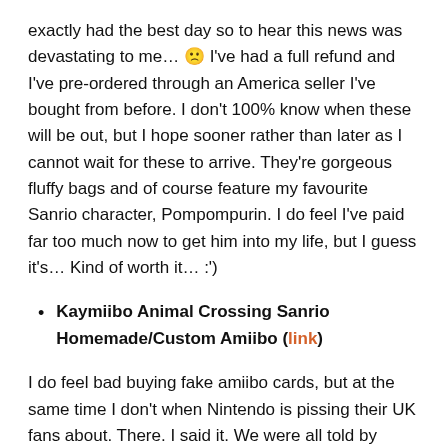exactly had the best day so to hear this news was devastating to me… 🙁 I've had a full refund and I've pre-ordered through an America seller I've bought from before. I don't 100% know when these will be out, but I hope sooner rather than later as I cannot wait for these to arrive. They're gorgeous fluffy bags and of course feature my favourite Sanrio character, Pompompurin. I do feel I've paid far too much now to get him into my life, but I guess it's… Kind of worth it… :')
Kaymiibo Animal Crossing Sanrio Homemade/Custom Amiibo (link)
I do feel bad buying fake amiibo cards, but at the same time I don't when Nintendo is pissing their UK fans about. There. I said it. We were all told by Nintendo UK the end of March, but the worldwide release was the 26th March, which we assumed would be the same here. I waited all day to order a pack of cards, as did others, but nothing dropped. I started to come to a realisation that IF the cards had of come out that day, I probably wouldn't have gotten any anyway, due to the fact SO many people want to get a packet of these cards, as well as scalpers trying to